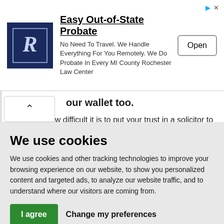[Figure (screenshot): Advertisement banner for Easy Out-of-State Probate by Rochester Law Center with logo, description text, and Open button]
our wallet too.
We know how difficult it is to put your trust in a solicitor to take care of your conveyancing needs. It's a minefield!
We use cookies
We use cookies and other tracking technologies to improve your browsing experience on our website, to show you personalized content and targeted ads, to analyze our website traffic, and to understand where our visitors are coming from.
I agree   Change my preferences